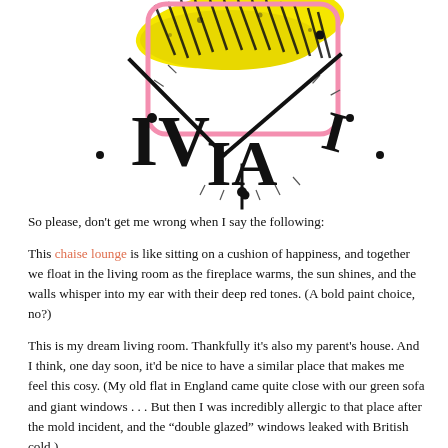[Figure (illustration): Partial view of a decorative clock face with bold black Roman numerals on white background, with yellow paint/texture blob visible at top center, and a pink rounded rectangle outline overlaid on the upper portion of the clock.]
So please, don't get me wrong when I say the following:
This chaise lounge is like sitting on a cushion of happiness, and together we float in the living room as the fireplace warms, the sun shines, and the walls whisper into my ear with their deep red tones. (A bold paint choice, no?)
This is my dream living room. Thankfully it's also my parent's house. And I think, one day soon, it'd be nice to have a similar place that makes me feel this cosy. (My old flat in England came quite close with our green sofa and giant windows . . . But then I was incredibly allergic to that place after the mold incident, and the “double glazed” windows leaked with British cold.)